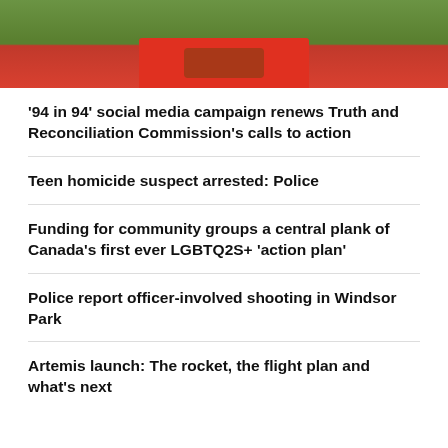[Figure (photo): Person in red shirt holding something, standing on green grass, partial view cropped at top]
'94 in 94' social media campaign renews Truth and Reconciliation Commission's calls to action
Teen homicide suspect arrested: Police
Funding for community groups a central plank of Canada's first ever LGBTQ2S+ 'action plan'
Police report officer-involved shooting in Windsor Park
Artemis launch: The rocket, the flight plan and what's next